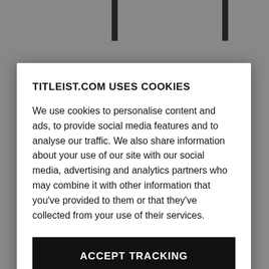TITLEIST.COM USES COOKIES
We use cookies to personalise content and ads, to provide social media features and to analyse our traffic. We also share information about your use of our site with our social media, advertising and analytics partners who may combine it with other information that you've provided to them or that they've collected from your use of their services.
ACCEPT TRACKING
MANAGE TRACKING